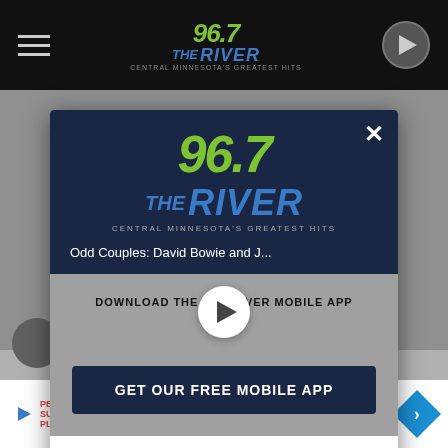96.7 The River – Central Minnesota's Greatest Hits
[Figure (screenshot): Modal popup dialog for 96.7 The River radio station app download prompt, showing station logo, play button, 'Download the 96.7 River Mobile App' text, 'GET OUR FREE MOBILE APP' button, and 'Also listen on: amazon alexa' footer. Background shows radio station website with 'Odd Couples: David Bowie and J...' article title. Bottom shows Hill's Science Diet Dog Food advertisement.]